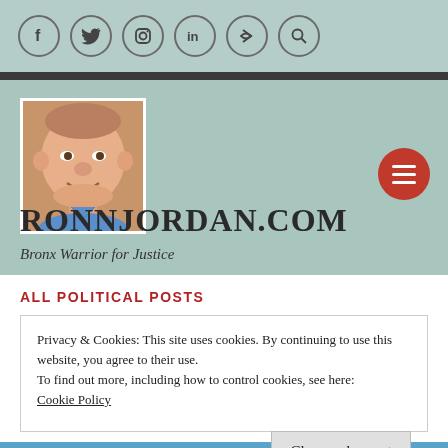[Figure (screenshot): Social media icon bar with Facebook, Twitter, Instagram, LinkedIn, link, and search icons in circles on a muted teal background]
[Figure (photo): Profile photo of a man in a blue shirt on a teal/sage green banner background with site title and tagline]
RONNJORDAN.COM
Bronx Warrior for Justice
ALL POLITICAL POSTS
Privacy & Cookies: This site uses cookies. By continuing to use this website, you agree to their use.
To find out more, including how to control cookies, see here:
Cookie Policy
Close and accept